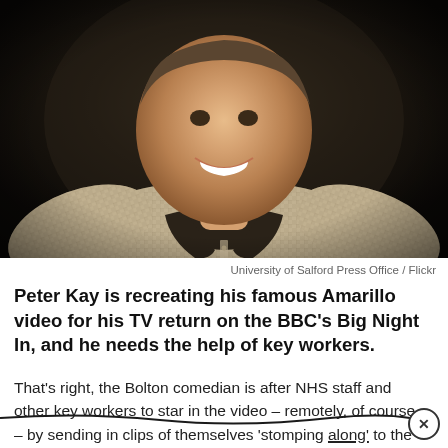[Figure (photo): Photo of Peter Kay, a heavyset man smiling broadly, wearing a grey gingham/checked shirt, photographed against a dark background. Credit: University of Salford Press Office / Flickr]
University of Salford Press Office / Flickr
Peter Kay is recreating his famous Amarillo video for his TV return on the BBC's Big Night In, and he needs the help of key workers.
That's right, the Bolton comedian is after NHS staff and other key workers to star in the video – remotely, of course – by sending in clips of themselves 'stomping along' to the song.